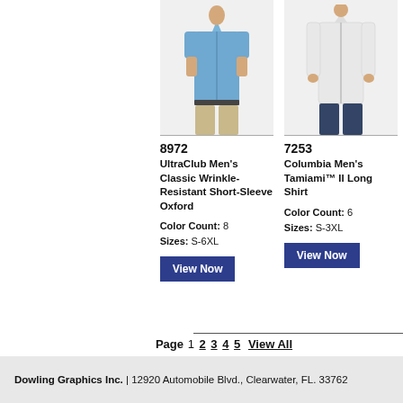[Figure (photo): Man wearing a blue short-sleeve oxford shirt with khaki pants]
8972
UltraClub Men's Classic Wrinkle-Resistant Short-Sleeve Oxford
Color Count: 8
Sizes: S-6XL
View Now
[Figure (photo): Man wearing a white long-sleeve shirt with dark pants]
7253
Columbia Men's Tamiami™ II Long Shirt
Color Count: 6
Sizes: S-3XL
View Now
Page 1 2 3 4 5 View All
Dowling Graphics Inc. | 12920 Automobile Blvd., Clearwater, FL. 33762